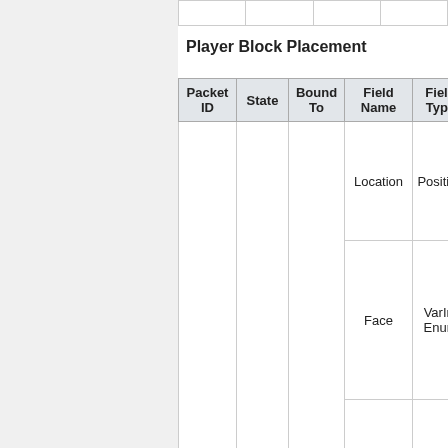|  |  |  |  |
Player Block Placement
| Packet ID | State | Bound To | Field Name | Field Type |
| --- | --- | --- | --- | --- |
|  |  |  | Location | Position |
|  |  |  | Face | VarInt Enum |
|  |  |  | Hand | VarInt Enum |